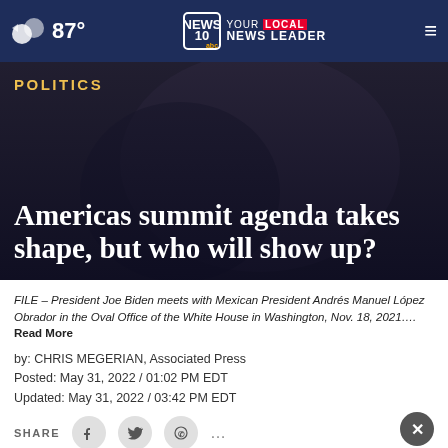87° | NEWS 10 abc YOUR LOCAL NEWS LEADER
POLITICS
Americas summit agenda takes shape, but who will show up?
FILE – President Joe Biden meets with Mexican President Andrés Manuel López Obrador in the Oval Office of the White House in Washington, Nov. 18, 2021…. Read More
by: CHRIS MEGERIAN, Associated Press
Posted: May 31, 2022 / 01:02 PM EDT
Updated: May 31, 2022 / 03:42 PM EDT
[Figure (infographic): Advertisement banner: GET DOWN WITH YOUR BLOOD PRESSURE - ACT NOW, in partnership with the Office of Minority Health and Health Resources & Services Administration. Ad Council, American Heart Association, AMA logos shown.]